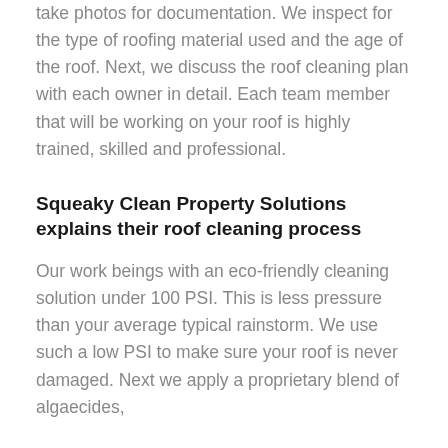take photos for documentation. We inspect for the type of roofing material used and the age of the roof. Next, we discuss the roof cleaning plan with each owner in detail. Each team member that will be working on your roof is highly trained, skilled and professional.
Squeaky Clean Property Solutions explains their roof cleaning process
Our work beings with an eco-friendly cleaning solution under 100 PSI. This is less pressure than your average typical rainstorm. We use such a low PSI to make sure your roof is never damaged. Next we apply a proprietary blend of algaecides,